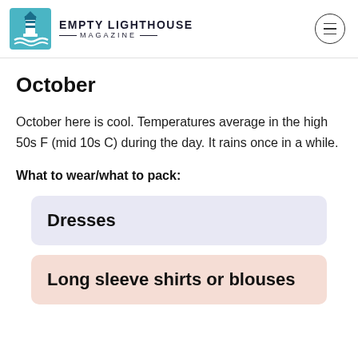EMPTY LIGHTHOUSE MAGAZINE
October
October here is cool. Temperatures average in the high 50s F (mid 10s C) during the day. It rains once in a while.
What to wear/what to pack:
Dresses
Long sleeve shirts or blouses